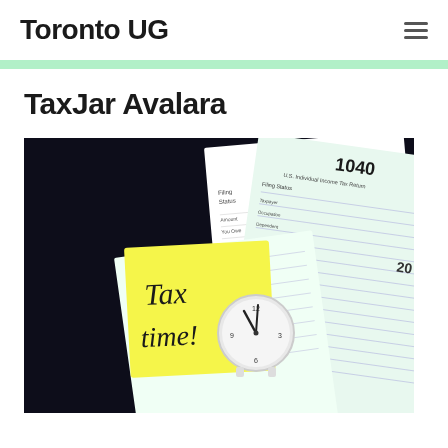Toronto UG
TaxJar Avalara
[Figure (photo): Photo of US tax forms 1040-SR and 1040, a yellow sticky note reading 'Tax time!', and a small analog clock on a dark background]